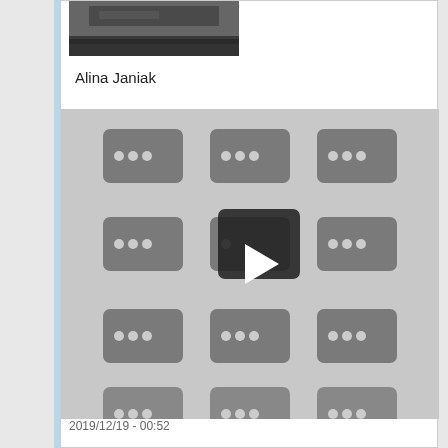[Figure (screenshot): Thumbnail image of a grassy/natural scene, grayscale, partially visible at top]
Alina Janiak
[Figure (screenshot): Video grid showing multiple video thumbnails with three-dot icons and a central play button (YouTube-style playlist or channel page), grayscale]
2019/12/19 - 00:52